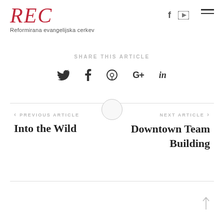REC – Reformirana evangelijska cerkev
SHARE THIS ARTICLE
Twitter  Facebook  Pinterest  Google+  LinkedIn (social share icons)
< PREVIOUS ARTICLE
Into the Wild
NEXT ARTICLE >
Downtown Team Building